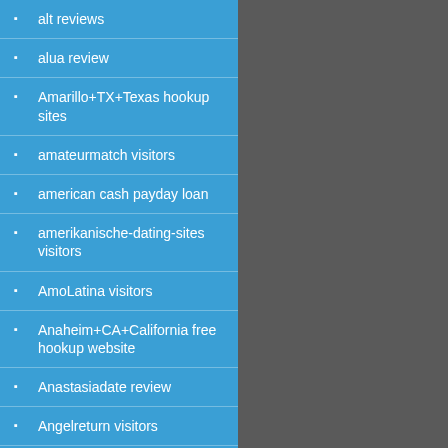alt reviews
alua review
Amarillo+TX+Texas hookup sites
amateurmatch visitors
american cash payday loan
amerikanische-dating-sites visitors
AmoLatina visitors
Anaheim+CA+California free hookup website
Anastasiadate review
Angelreturn visitors
AntiChat visitors